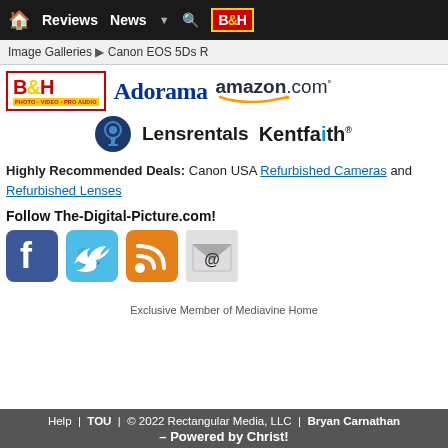Home | Reviews | News | B&H
Image Galleries ▶ Canon EOS 5Ds R
[Figure (logo): B&H Photo Video Pro Audio logo, Adorama logo, Amazon.com logo, Lensrentals logo, Kentfaith logo]
Highly Recommended Deals: Canon USA Refurbished Cameras and Refurbished Lenses
Follow The-Digital-Picture.com!
[Figure (logo): Social media icons: Facebook, Twitter, RSS, Email]
Exclusive Member of Mediavine Home
Help | TOU | © 2022 Rectangular Media, LLC | Bryan Carnathan – Powered by Christ!